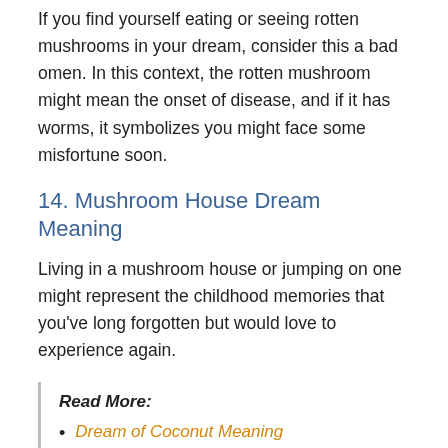If you find yourself eating or seeing rotten mushrooms in your dream, consider this a bad omen. In this context, the rotten mushroom might mean the onset of disease, and if it has worms, it symbolizes you might face some misfortune soon.
14. Mushroom House Dream Meaning
Living in a mushroom house or jumping on one might represent the childhood memories that you've long forgotten but would love to experience again.
Read More:
Dream of Coconut Meaning
Dreams About Eating Fish: What Does It